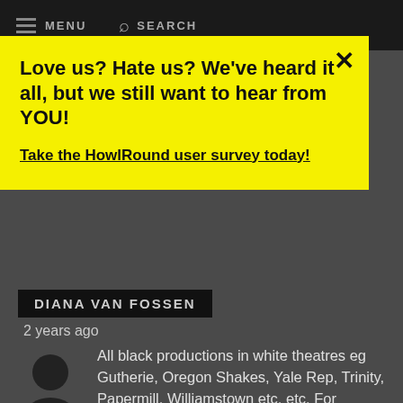MENU   SEARCH
Love us? Hate us? We've heard it all, but we still want to hear from YOU!

Take the HowlRound user survey today!
DIANA VAN FOSSEN
2 years ago
All black productions in white theatres eg Gutherie, Oregon Shakes, Yale Rep, Trinity, Papermill, Williamstown etc, etc. For traditionally